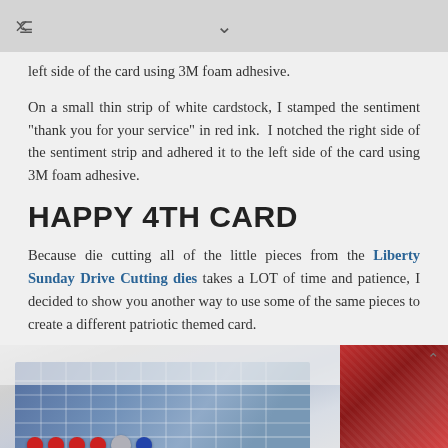share | chevron-down
left side of the card using 3M foam adhesive.
On a small thin strip of white cardstock, I stamped the sentiment “thank you for your service” in red ink. I notched the right side of the sentiment strip and adhered it to the left side of the card using 3M foam adhesive.
HAPPY 4TH CARD
Because die cutting all of the little pieces from the Liberty Sunday Drive Cutting dies takes a LOT of time and patience, I decided to show you another way to use some of the same pieces to create a different patriotic themed card.
[Figure (photo): Photo of patriotic themed cards with red, white, and blue colors, polka dots and plaid patterns, partially visible]